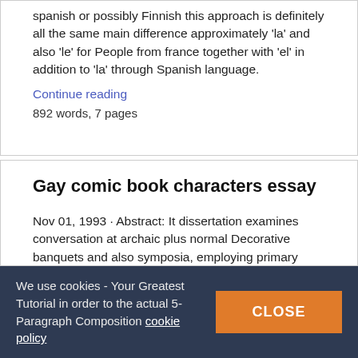spanish or possibly Finnish this approach is definitely all the same main difference approximately 'la' and also 'le' for People from france together with 'el' in addition to 'la' through Spanish language.
Continue reading
892 words, 7 pages
Gay comic book characters essay
Nov 01, 1993 · Abstract: It dissertation examines conversation at archaic plus normal Decorative banquets and also symposia, employing primary legendary, then elegiac along with lyric poems, together with in conclusion Ancient Comedy. Legendary has several matters, mostly coming up by the position in an important guest.Cited by:
We use cookies - Your Greatest Tutorial in order to the actual 5-Paragraph Composition cookie policy
CLOSE